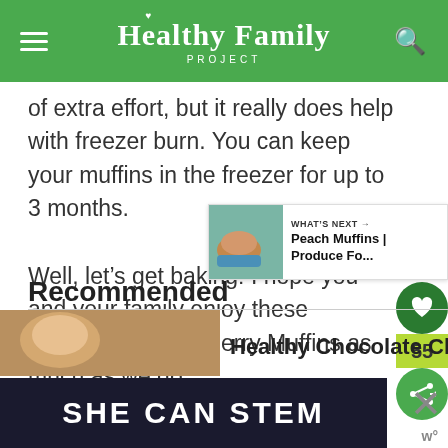Healthy Family PROJECT
of extra effort, but it really does help with freezer burn. You can keep your muffins in the freezer for up to 3 months.
Well, let’s get baking! I hope you and your family enjoy these Chocolate Chip Cherry Muffins as much as we do.
Recommended
[Figure (screenshot): What's Next widget showing Peach Muffins | Produce Fo...]
[Figure (photo): Partial thumbnail of recommended item at bottom of page]
Healthy Chocolate Chi...
[Figure (screenshot): Ad banner reading SHE CAN STEM with dark background and close button]